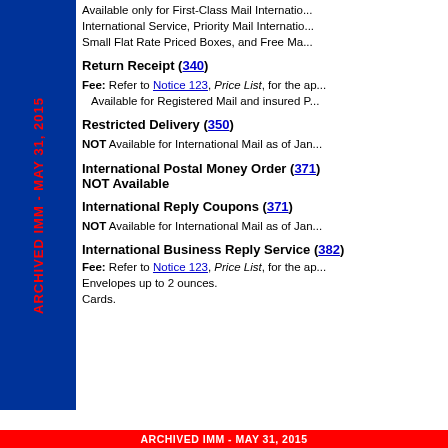Available only for First-Class Mail International Service, Priority Mail International Service, Small Flat Rate Priced Boxes, and Free Ma...
Return Receipt (340)
Fee: Refer to Notice 123, Price List, for the applicable fee. Available for Registered Mail and insured P...
Restricted Delivery (350)
NOT Available for International Mail as of Jan...
International Postal Money Order (371) NOT Available
International Reply Coupons (371)
NOT Available for International Mail as of Jan...
International Business Reply Service (382)
Fee: Refer to Notice 123, Price List, for the ap... Envelopes up to 2 ounces. Cards.
ARCHIVED IMM - MAY 31, 2015